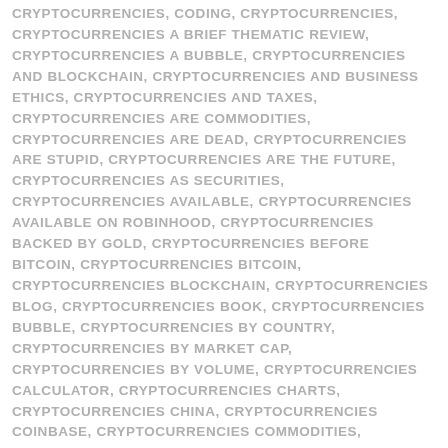CRYPTOCURRENCIES, CODING, CRYPTOCURRENCIES, CRYPTOCURRENCIES A BRIEF THEMATIC REVIEW, CRYPTOCURRENCIES A BUBBLE, CRYPTOCURRENCIES AND BLOCKCHAIN, CRYPTOCURRENCIES AND BUSINESS ETHICS, CRYPTOCURRENCIES AND TAXES, CRYPTOCURRENCIES ARE COMMODITIES, CRYPTOCURRENCIES ARE DEAD, CRYPTOCURRENCIES ARE STUPID, CRYPTOCURRENCIES ARE THE FUTURE, CRYPTOCURRENCIES AS SECURITIES, CRYPTOCURRENCIES AVAILABLE, CRYPTOCURRENCIES AVAILABLE ON ROBINHOOD, CRYPTOCURRENCIES BACKED BY GOLD, CRYPTOCURRENCIES BEFORE BITCOIN, CRYPTOCURRENCIES BITCOIN, CRYPTOCURRENCIES BLOCKCHAIN, CRYPTOCURRENCIES BLOG, CRYPTOCURRENCIES BOOK, CRYPTOCURRENCIES BUBBLE, CRYPTOCURRENCIES BY COUNTRY, CRYPTOCURRENCIES BY MARKET CAP, CRYPTOCURRENCIES BY VOLUME, CRYPTOCURRENCIES CALCULATOR, CRYPTOCURRENCIES CHARTS, CRYPTOCURRENCIES CHINA, CRYPTOCURRENCIES COINBASE, CRYPTOCURRENCIES COMMODITIES, CRYPTOCURRENCIES COMPANIES, CRYPTOCURRENCIES COMPARED, CRYPTOCURRENCIES CRASHING, CRYPTOCURRENCIES